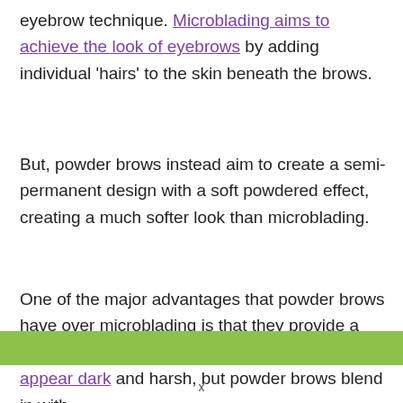eyebrow technique. Microblading aims to achieve the look of eyebrows by adding individual 'hairs' to the skin beneath the brows.
But, powder brows instead aim to create a semi-permanent design with a soft powdered effect, creating a much softer look than microblading.
One of the major advantages that powder brows have over microblading is that they provide a much more natural look. Microblading can often appear dark and harsh, but powder brows blend in with